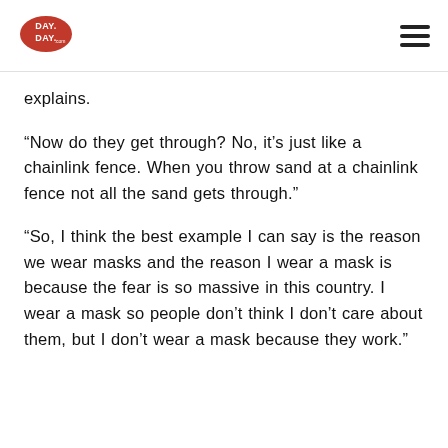DAY DAY (logo)
explains.
“Now do they get through? No, it’s just like a chainlink fence. When you throw sand at a chainlink fence not all the sand gets through.”
“So, I think the best example I can say is the reason we wear masks and the reason I wear a mask is because the fear is so massive in this country. I wear a mask so people don’t think I don’t care about them, but I don’t wear a mask because they work.”